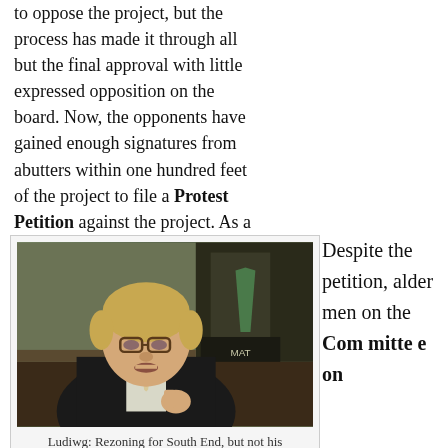to oppose the project, but the process has made it through all but the final approval with little expressed opposition on the board. Now, the opponents have gained enough signatures from abutters within one hundred feet of the project to file a Protest Petition against the project. As a result, proponents will have to muster ten votes, or two thirds of the board, to approve the rezoning request.
[Figure (photo): Video screenshot of a middle-aged man with glasses and blond hair in a dark suit speaking at a hearing or committee meeting, with another person in a green tie visible in the background.]
Ludiwg: Rezoning for South End, but not his neighborhood
Despite the petition, aldermen on the Committee on